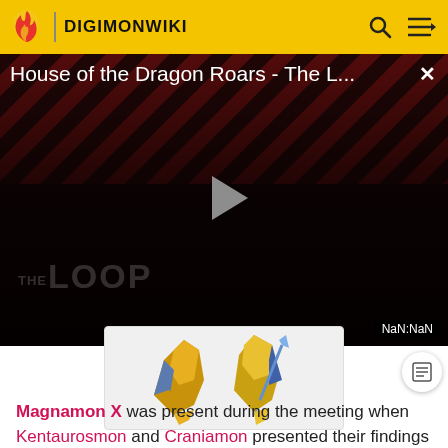DIGIMONWIKI
[Figure (screenshot): Video player showing 'House of the Dragon Roars - The L...' with a play button, diagonal striped background, THE LOOP watermark, and NaN:NaN timestamp. Shows two dark figures.]
[Figure (illustration): Partial view of Digimon character artwork showing armored legs/feet of two Digimon characters on a light gray card background]
Magnamon X was present during the meeting when Kentaurosmon and Craniamon presented their findings on